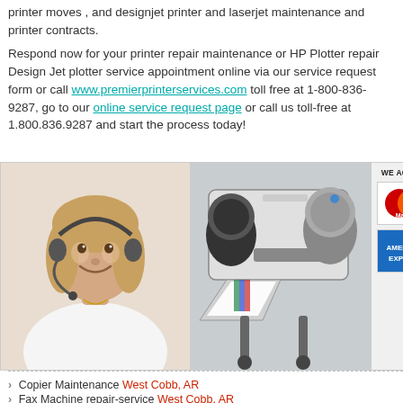printer moves , and designjet printer and laserjet maintenance and printer contracts.
Respond now for your printer repair maintenance or HP Plotter repair Design Jet plotter service appointment online via our service request form or call www.premierprinterservices.com toll free at 1-800-836-9287, go to our online service request page or call us toll-free at 1.800.836.9287 and start the process today!
[Figure (photo): Customer service woman wearing headset, smiling]
[Figure (photo): HP DesignJet large format printer/plotter]
[Figure (infographic): Payment methods accepted: MasterCard and American Express]
Copier Maintenance West Cobb, AR
Fax Machine repair-service West Cobb, AR
Copier Repair West Cobb, AR
Printer Maintenance West Cobb, AR